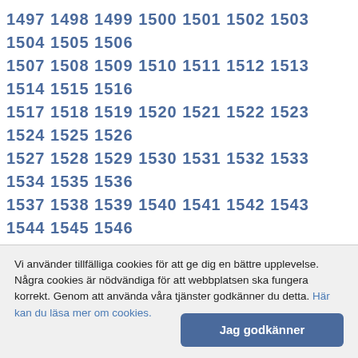1497 1498 1499 1500 1501 1502 1503 1504 1505 1506 1507 1508 1509 1510 1511 1512 1513 1514 1515 1516 1517 1518 1519 1520 1521 1522 1523 1524 1525 1526 1527 1528 1529 1530 1531 1532 1533 1534 1535 1536 1537 1538 1539 1540 1541 1542 1543 1544 1545 1546 1547 1548 1549 1550 1551 1552 1553 1554 1555 1556 1557 1558 1559 1560 1561 1562 1563 1564 1565 1566 1567 1568 1569 1570 1571 1572 1573 1574 1575 1576 1577 1578 1579 1580 1581 1582 1583 1584 1585 1586 1587 1588 1589 1590 1591 1592 1593 1594 1595 1596 1597 1598 1599 1600 1601 1602 1603 1604 1605 1606 1607 1608 1609 1610 1611 1612 1613 1614 1615 1616 1617 1618 1619 1620 1621 1622 1623 1624 1625 1626 1627 1628 1629 1630 1631 1632 1633 1634 1635 1636 1637 1638 1639 1640 1641 1642 1643 1644 1645 1646 1647 1648 1649 1650 1651 1652 1653 1654 1655 1656
Vi använder tillfälliga cookies för att ge dig en bättre upplevelse. Några cookies är nödvändiga för att webbplatsen ska fungera korrekt. Genom att använda våra tjänster godkänner du detta. Här kan du läsa mer om cookies.
Jag godkänner